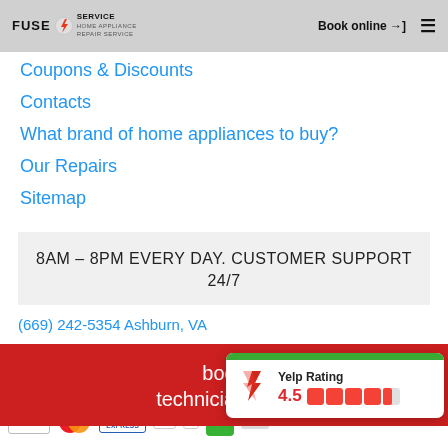FUSE SERVICE | Book online →] ☰
Coupons & Discounts
Contacts
What brand of home appliances to buy?
Our Repairs
Sitemap
8AM – 8PM EVERY DAY. CUSTOMER SUPPORT 24/7
(669) 242-5354 Ashburn, VA
book technician here
[Figure (screenshot): Yelp Rating popup with green top bar, Yelp logo, rating 4.5 with red star icons]
[Figure (infographic): Payment logos: VISA, MasterCard, American Express, Discover, PayPal, and other payment methods]